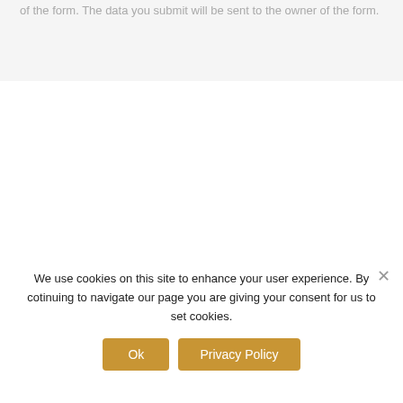of the form. The data you submit will be sent to the owner of the form.
[Figure (illustration): Cookie icon — semicircle shape in golden/tan color visible at bottom right of white area]
We use cookies on this site to enhance your user experience. By cotinuing to navigate our page you are giving your consent for us to set cookies.
Ok
Privacy Policy